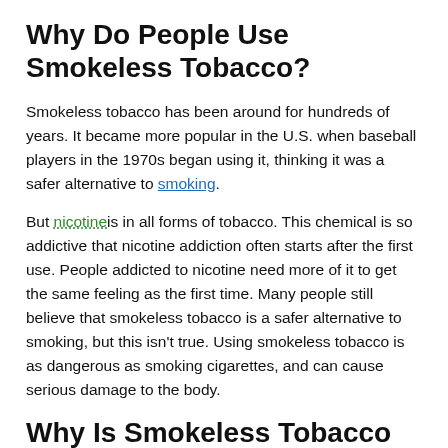Why Do People Use Smokeless Tobacco?
Smokeless tobacco has been around for hundreds of years. It became more popular in the U.S. when baseball players in the 1970s began using it, thinking it was a safer alternative to smoking.
But nicotine is in all forms of tobacco. This chemical is so addictive that nicotine addiction often starts after the first use. People addicted to nicotine need more of it to get the same feeling as the first time. Many people still believe that smokeless tobacco is a safer alternative to smoking, but this isn't true. Using smokeless tobacco is as dangerous as smoking cigarettes, and can cause serious damage to the body.
Why Is Smokeless Tobacco Dangerous?